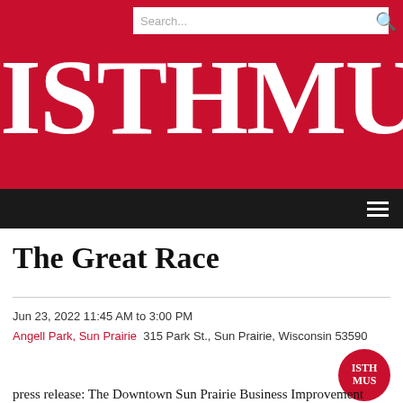[Figure (logo): Isthmus newspaper website header with red background, search bar, and large white ISTHMUS logo text]
The Great Race
Jun 23, 2022 11:45 AM to 3:00 PM
Angell Park, Sun Prairie 315 Park St., Sun Prairie, Wisconsin 53590
[Figure (logo): Isthmus circular logo badge in red with white text ISTHMUS]
press release: The Downtown Sun Prairie Business Improvement